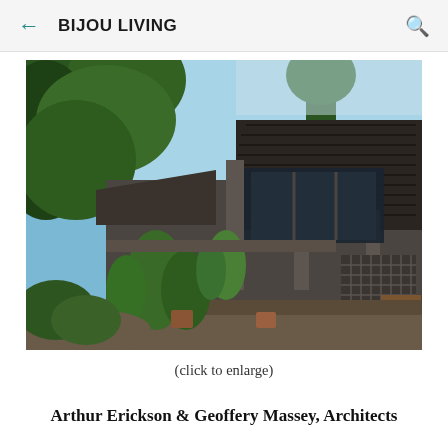← BIJOU LIVING 🔍
[Figure (photo): Exterior view of a modernist house designed by Arthur Erickson & Geoffery Massey, Architects. The concrete and wood structure features large windows, pitched roof with dark shingles, surrounded by lush green trees and garden plantings.]
(click to enlarge)
Arthur Erickson & Geoffery Massey, Architects